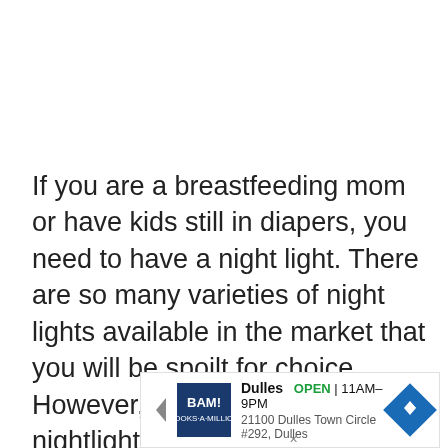If you are a breastfeeding mom or have kids still in diapers, you need to have a night light. There are so many varieties of night lights available in the market that you will be spoilt for choice. However, choosing the best nightlight for feeding baby and making diaper changes can be quite challenging.
[Figure (other): Advertisement banner for BAM! Books-A-Million store in Dulles. Shows store logo, name 'Dulles', status 'OPEN | 11AM-9PM', address '21100 Dulles Town Circle #292, Dulles', and a navigation arrow icon.]